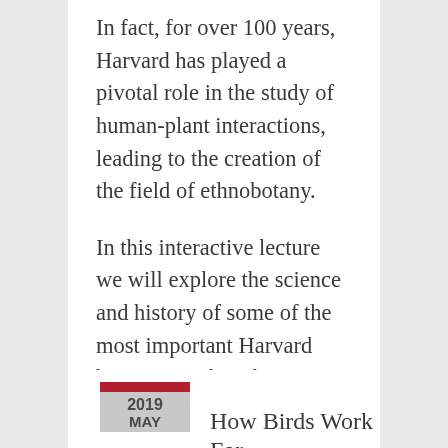In fact, for over 100 years, Harvard has played a pivotal role in the study of human-plant interactions, leading to the creation of the field of ethnobotany.
In this interactive lecture we will explore the science and history of some of the most important Harvard botanists and explorers through their unique specimens—now housed in the Harvard…
2019 MAY
How Birds Work For...